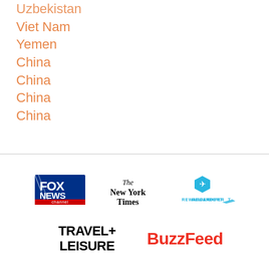Uzbekistan
Viet Nam
Yemen
China
China
China
China
[Figure (logo): Fox News Channel logo - blue and red box with white text]
[Figure (logo): The New York Times logo in serif blackletter font]
[Figure (logo): RewardExpert logo with blue hexagon and airplane icon]
[Figure (logo): Travel+Leisure logo in bold black sans-serif uppercase]
[Figure (logo): BuzzFeed logo in red bold sans-serif]